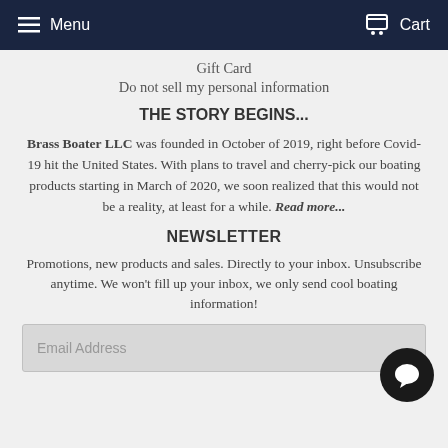Menu  Cart
Gift Card
Do not sell my personal information
THE STORY BEGINS...
Brass Boater LLC was founded in October of 2019, right before Covid-19 hit the United States. With plans to travel and cherry-pick our boating products starting in March of 2020, we soon realized that this would not be a reality, at least for a while. Read more...
NEWSLETTER
Promotions, new products and sales. Directly to your inbox. Unsubscribe anytime. We won't fill up your inbox, we only send cool boating information!
Email Address